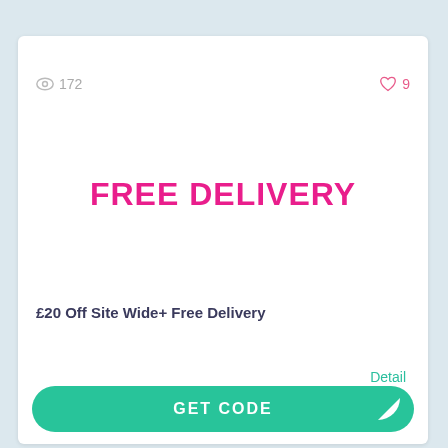172
9
FREE DELIVERY
£20 Off Site Wide+ Free Delivery
Detail
GET CODE